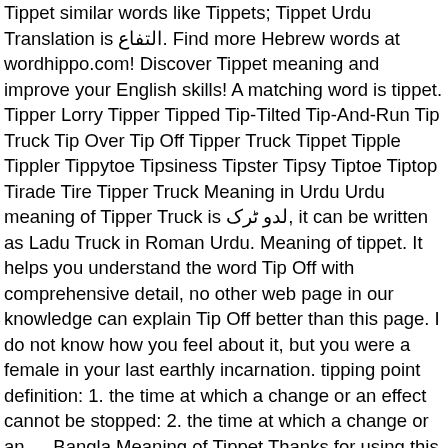Tippet similar words like Tippets; Tippet Urdu Translation is التفاع. Find more Hebrew words at wordhippo.com! Discover Tippet meaning and improve your English skills! A matching word is tippet. Tipper Lorry Tipper Tipped Tip-Tilted Tip-And-Run Tip Truck Tip Over Tip Off Tipper Truck Tippet Tipple Tippler Tippytoe Tipsiness Tipster Tipsy Tiptoe Tiptop Tirade Tire Tipper Truck Meaning in Urdu Urdu meaning of Tipper Truck is لدو ٹرک, it can be written as Ladu Truck in Roman Urdu. Meaning of tippet. It helps you understand the word Tip Off with comprehensive detail, no other web page in our knowledge can explain Tip Off better than this page. I do not know how you feel about it, but you were a female in your last earthly incarnation. tipping point definition: 1. the time at which a change or an effect cannot be stopped: 2. the time at which a change or an…. Bangla Meaning of Tippet Thanks for using this online dictionary, we have been helping millions of people improve their use of the bangla language with its free online services. Discover tippet meaning and improve your English skills! Learn Tippet in English translation and other related translations from Portuguese to